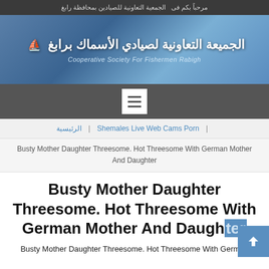مرحباً بكم فى الجمعية التعاونية للصيادين بمحافظة رابغ
[Figure (screenshot): Banner of Cooperative Society For Fishermen Rabigh with Arabic text and boat illustration on blue background]
[Figure (screenshot): Navigation bar with hamburger menu button]
الرئيسية | Shemales Live Web Cams Porn |
Busty Mother Daughter Threesome. Hot Threesome With German Mother And Daughter
Busty Mother Daughter Threesome. Hot Threesome With German Mother And Daughter
Busty Mother Daughter Threesome. Hot Threesome With German